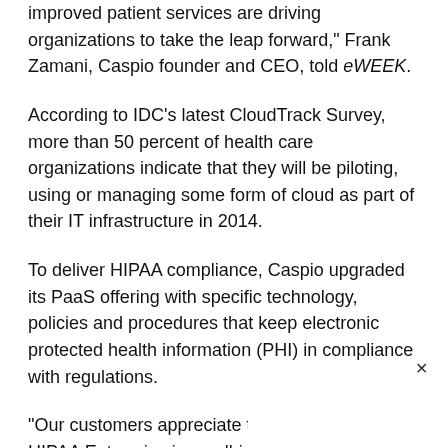improved patient services are driving organizations to take the leap forward," Frank Zamani, Caspio founder and CEO, told eWEEK.
According to IDC's latest CloudTrack Survey, more than 50 percent of health care organizations indicate that they will be piloting, using or managing some form of cloud as part of their IT infrastructure in 2014.
To deliver HIPAA compliance, Caspio upgraded its PaaS offering with specific technology, policies and procedures that keep electronic protected health information (PHI) in compliance with regulations.
“Our customers appreciate the fact that Caspio HIPAA Enterprise is an all-in-one solution that provides everything they nee[d to maintain] complia[nce...]